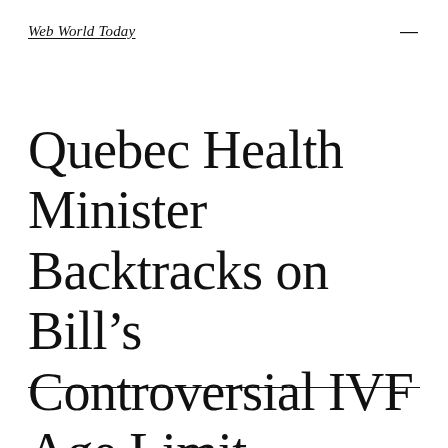Web World Today
Quebec Health Minister Backtracks on Bill's Controversial IVF Age Limit